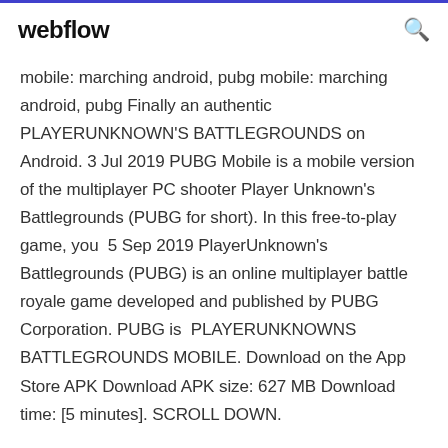webflow
mobile: marching android, pubg mobile: marching android, pubg Finally an authentic PLAYERUNKNOWN'S BATTLEGROUNDS on Android. 3 Jul 2019 PUBG Mobile is a mobile version of the multiplayer PC shooter Player Unknown's Battlegrounds (PUBG for short). In this free-to-play game, you  5 Sep 2019 PlayerUnknown's Battlegrounds (PUBG) is an online multiplayer battle royale game developed and published by PUBG Corporation. PUBG is  PLAYERUNKNOWNS BATTLEGROUNDS MOBILE. Download on the App Store APK Download APK size: 627 MB Download time: [5 minutes]. SCROLL DOWN.